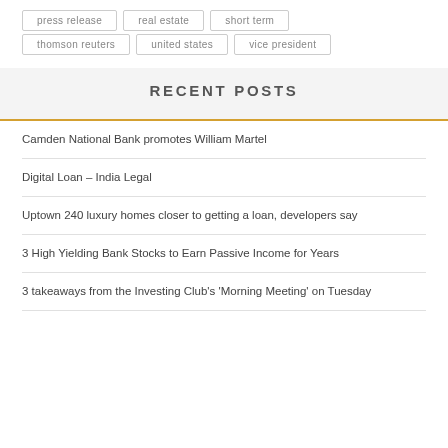press release
real estate
short term
thomson reuters
united states
vice president
RECENT POSTS
Camden National Bank promotes William Martel
Digital Loan – India Legal
Uptown 240 luxury homes closer to getting a loan, developers say
3 High Yielding Bank Stocks to Earn Passive Income for Years
3 takeaways from the Investing Club's 'Morning Meeting' on Tuesday